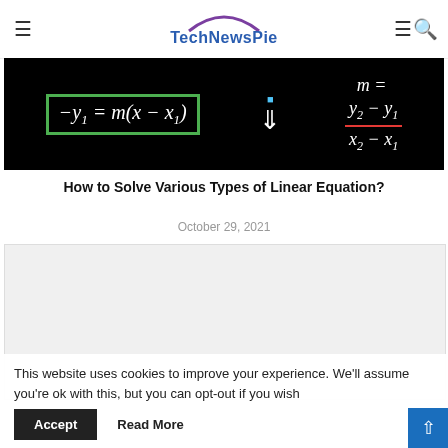TechNewsPie
[Figure (photo): Blackboard showing linear equation formulas: y - y1 = m(x - x1) highlighted in green box, and m = (y2 - y1)/(x2 - x1) on the right side.]
How to Solve Various Types of Linear Equation?
October 29, 2021
[Figure (other): Advertisement placeholder block (light grey)]
This website uses cookies to improve your experience. We'll assume you're ok with this, but you can opt-out if you wish
Accept   Read More